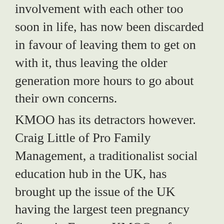involvement with each other too soon in life, has now been discarded in favour of leaving them to get on with it, thus leaving the older generation more hours to go about their own concerns.
KMOO has its detractors however. Craig Little of Pro Family Management, a traditionalist social education hub in the UK, has brought up the issue of the UK having the largest teen pregnancy figures in Europe. KMOO enforcers , in reply have called for thicker, more durable condoms.